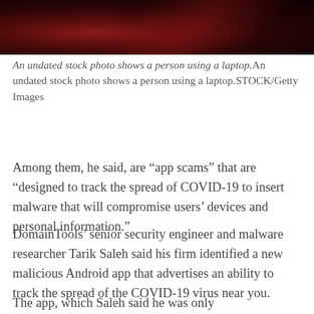[Figure (photo): Partial top portion of a dark stock photo showing a person using a laptop, with red/dark tones visible]
An undated stock photo shows a person using a laptop. An undated stock photo shows a person using a laptop.STOCK/Getty Images
Among them, he said, are “app scams” that are “designed to track the spread of COVID-19 to insert malware that will compromise users’ devices and personal information.”
DomainTools’ senior security engineer and malware researcher Tarik Saleh said his firm identified a new malicious Android app that advertises an ability to track the spread of the COVID-19 virus near you.
The app, which Saleh said he was only...